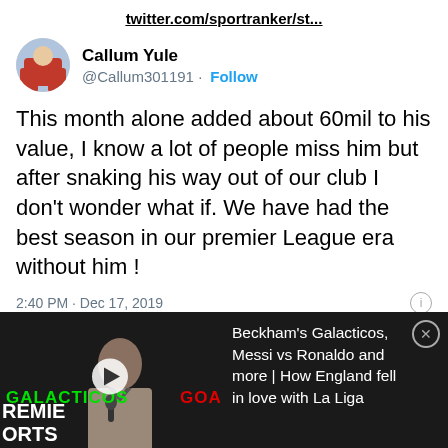twitter.com/sportranker/st...
Callum Yule
@Callum301191 · Follow
This month alone added about 60mil to his value, I know a lot of people miss him but after snaking his way out of our club I don't wonder what if. We have had the best season in our premier League era without him !
2:40 PM · Dec 17, 2019
♥ 4   Reply   Copy link
[Figure (screenshot): Video thumbnail banner showing text GALACTICOS and GOATS with a play button, and a person in a suit. Right side has dark background with text: Beckham's Galacticos, Messi vs Ronaldo and more | How England fell in love with La Liga]